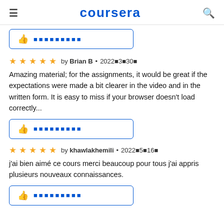coursera
[Figure (other): Helpful button with thumbs up icon and placeholder text]
by Brian B • 2022年3月30日
Amazing material; for the assignments, it would be great if the expectations were made a bit clearer in the video and in the written form. It is easy to miss if your browser doesn't load correctly...
[Figure (other): Helpful button with thumbs up icon and placeholder text]
by khawlakhemili • 2022年5月16日
j'ai bien aimé ce cours merci beaucoup pour tous j'ai appris plusieurs nouveaux connaissances.
[Figure (other): Helpful button with thumbs up icon and placeholder text]